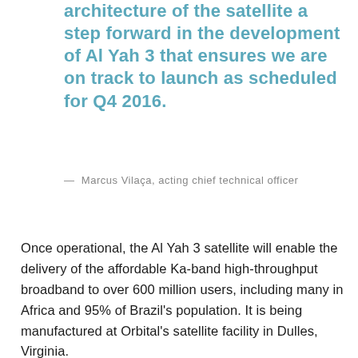architecture of the satellite a step forward in the development of Al Yah 3 that ensures we are on track to launch as scheduled for Q4 2016.
— Marcus Vilaça, acting chief technical officer
Once operational, the Al Yah 3 satellite will enable the delivery of the affordable Ka-band high-throughput broadband to over 600 million users, including many in Africa and 95% of Brazil's population. It is being manufactured at Orbital's satellite facility in Dulles, Virginia.